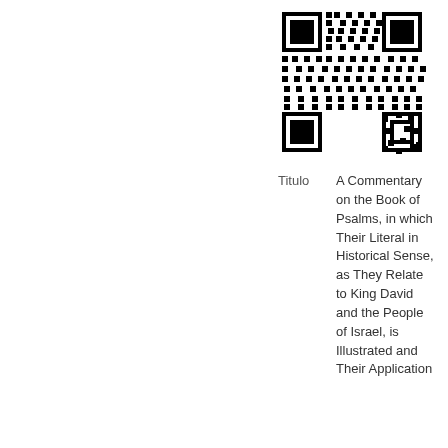[Figure (other): QR code image in black and white]
Titulo   A Commentary on the Book of Psalms, in which Their Literal in Historical Sense, as They Relate to King David and the People of Israel, is Illustrated and Their Application